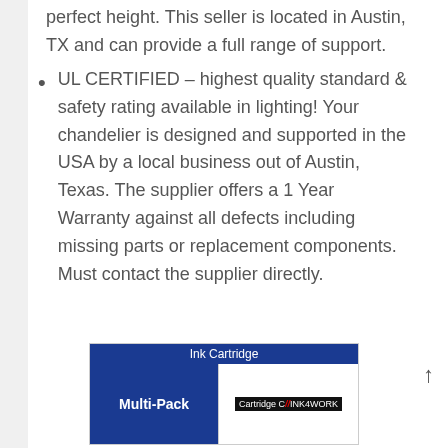perfect height. This seller is located in Austin, TX and can provide a full range of support.
UL CERTIFIED – highest quality standard & safety rating available in lighting! Your chandelier is designed and supported in the USA by a local business out of Austin, Texas. The supplier offers a 1 Year Warranty against all defects including missing parts or replacement components. Must contact the supplier directly.
[Figure (photo): Product image showing an Ink Cartridge Multi-Pack, with a blue banner reading 'Ink Cartridge' at top, left side reads 'Multi-Pack' in white on blue background, right side shows a 'Cartridge Co INK4WORK' label on black background.]